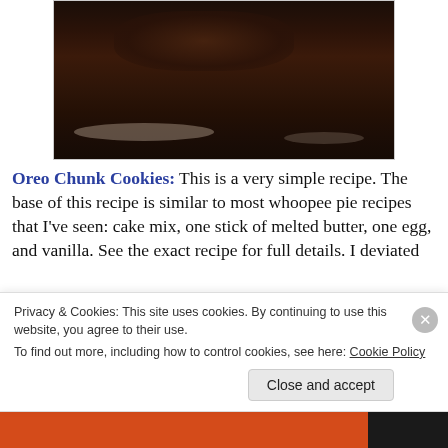[Figure (photo): Stack of dark chocolate Oreo chunk cookies/brownies on a white surface]
Oreo Chunk Cookies: This is a very simple recipe.  The base of this recipe is similar to most whoopee pie recipes that I've seen: cake mix, one stick of melted butter, one egg, and vanilla.  See the exact recipe for full details.  I deviated
Privacy & Cookies: This site uses cookies. By continuing to use this website, you agree to their use.
To find out more, including how to control cookies, see here: Cookie Policy
Close and accept